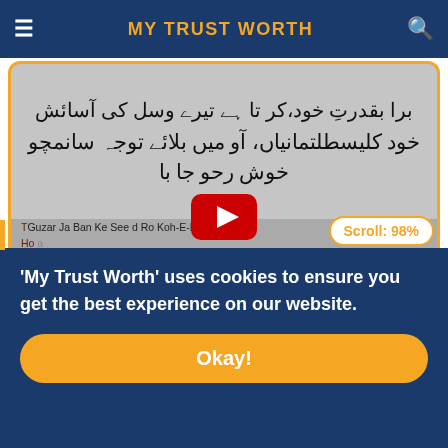MY TRUST WORTH
[Figure (screenshot): A video thumbnail showing Urdu calligraphic text on a gray background with a YouTube-style red play button overlay. Overlaid text includes Urdu poetry lines and their English transliterations and translations: 'Guzar Ja Ban Ke See...d Ro Koh-E-Byaban Se', 'Gulistan Rah Mein Aye To Joo ay Naghma Khawan Ho Ja', 'Pass like a river in full spate through the mountains and the deserts,', 'If the garden should come your way, then become']
Scroll: 98%
'My Trust Worth' uses cookies to ensure you get the best experience on our website.
Okay!